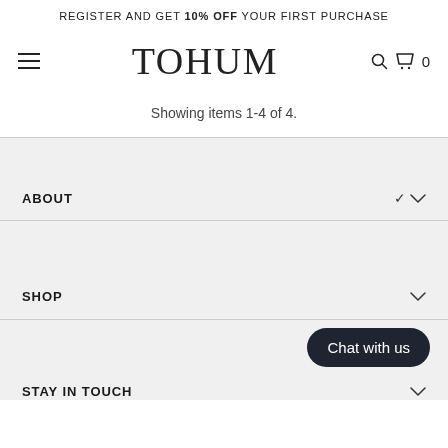REGISTER AND GET 10% OFF YOUR FIRST PURCHASE
TOHUM
Showing items 1-4 of 4.
ABOUT
SHOP
Chat with us
STAY IN TOUCH